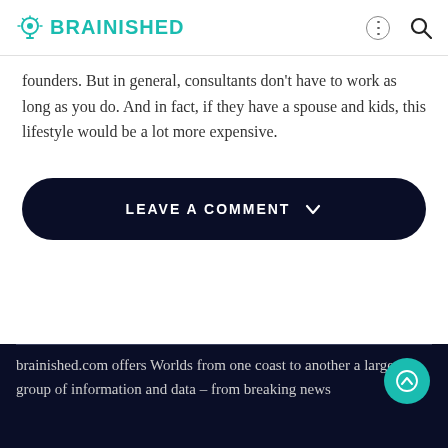BRAINISHED
founders. But in general, consultants don't have to work as long as you do. And in fact, if they have a spouse and kids, this lifestyle would be a lot more expensive.
LEAVE A COMMENT
brainished.com offers Worlds from one coast to another a large group of information and data – from breaking news